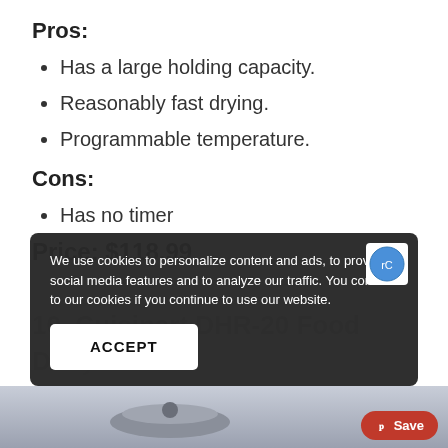Pros:
Has a large holding capacity.
Reasonably fast drying.
Programmable temperature.
Cons:
Has no timer
Price: $118.99
10. Cuisinart DHR-20 Food Dehydrator
We use cookies to personalize content and ads, to provide social media features and to analyze our traffic. You consent to our cookies if you continue to use our website. ACCEPT